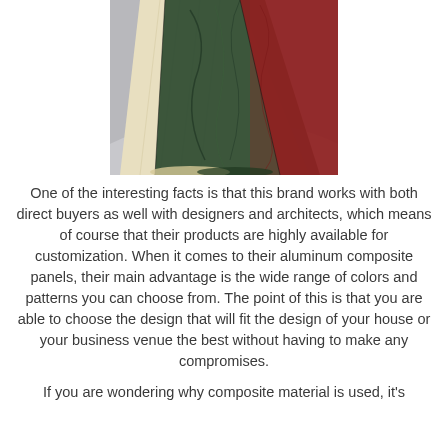[Figure (photo): Fan arrangement of composite panel samples showing different surface finishes and colors: dark green marble, beige/cream wood grain, and dark red/burgundy textured patterns, fanned out on a light grey surface.]
One of the interesting facts is that this brand works with both direct buyers as well with designers and architects, which means of course that their products are highly available for customization. When it comes to their aluminum composite panels, their main advantage is the wide range of colors and patterns you can choose from. The point of this is that you are able to choose the design that will fit the design of your house or your business venue the best without having to make any compromises.
If you are wondering why composite material is used, it's